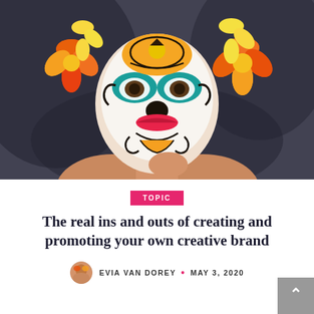[Figure (photo): Woman with colorful Day of the Dead sugar skull face paint, orange flowers in hair, dark background]
TOPIC
The real ins and outs of creating and promoting your own creative brand
EVIA VAN DOREY • MAY 3, 2020